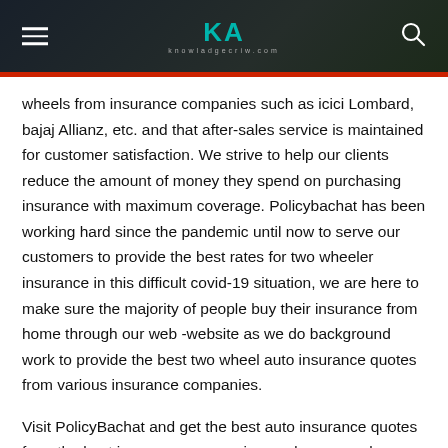KA knowladgecriw.com
wheels from insurance companies such as icici Lombard, bajaj Allianz, etc. and that after-sales service is maintained for customer satisfaction. We strive to help our clients reduce the amount of money they spend on purchasing insurance with maximum coverage. Policybachat has been working hard since the pandemic until now to serve our customers to provide the best rates for two wheeler insurance in this difficult covid-19 situation, we are here to make sure the majority of people buy their insurance from home through our web -website as we do background work to provide the best two wheel auto insurance quotes from various insurance companies.
Visit PolicyBachat and get the best auto insurance quotes from the best insurance companies, and you can also check the wording of the company’s policies and carefully read the details of the risk factors conditions and promotional brochure before